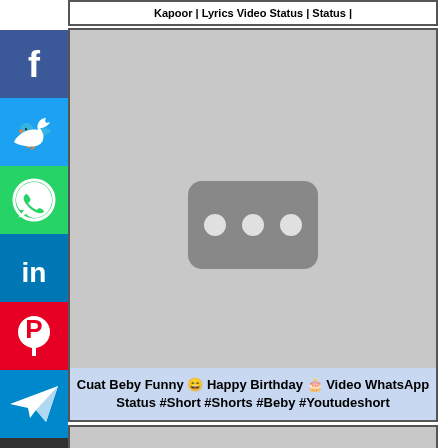Kapoor | Lyrics Video Status | Status |
[Figure (screenshot): YouTube video thumbnail placeholder (gray with rounded rectangle play button area) with caption: Cuat Beby Funny 😄 Happy Birthday 🎂 Video WhatsApp Status #Short #Shorts #Beby #Youtudeshort]
Cuat Beby Funny 😄 Happy Birthday 🎂 Video WhatsApp Status #Short #Shorts #Beby #Youtudeshort
[Figure (screenshot): YouTube video thumbnail placeholder (gray with rounded rectangle play button area), second card]
[Figure (other): Social media share buttons sidebar: Facebook (blue), Twitter (blue), WhatsApp (green), LinkedIn (blue), Pinterest (red), Telegram (blue), Share (dark)]